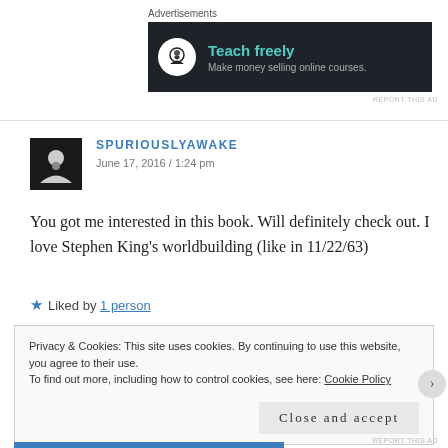Advertisements
[Figure (other): Dark advertisement banner for Teachable: bonsai tree icon, title 'Teach freely', subtitle 'Make money selling online courses.']
SPURIOUSLYAWAKE
June 17, 2016 / 1:24 pm
You got me interested in this book. Will definitely check out. I love Stephen King's worldbuilding (like in 11/22/63)
★ Liked by 1 person
Privacy & Cookies: This site uses cookies. By continuing to use this website, you agree to their use.
To find out more, including how to control cookies, see here: Cookie Policy
Close and accept